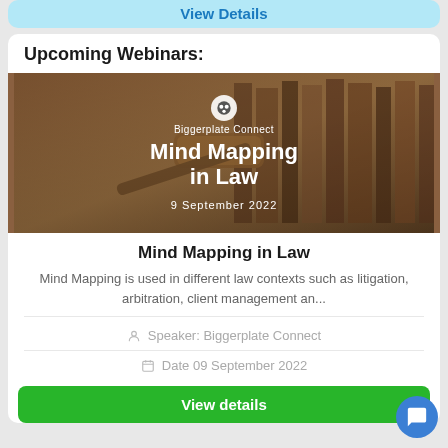View Details
Upcoming Webinars:
[Figure (photo): Webinar banner image for Biggerplate Connect showing a gavel and law books in background with text: Biggerplate Connect, Mind Mapping in Law, 9 September 2022]
Mind Mapping in Law
Mind Mapping is used in different law contexts such as litigation, arbitration, client management an...
Speaker: Biggerplate Connect
Date 09 September 2022
View details